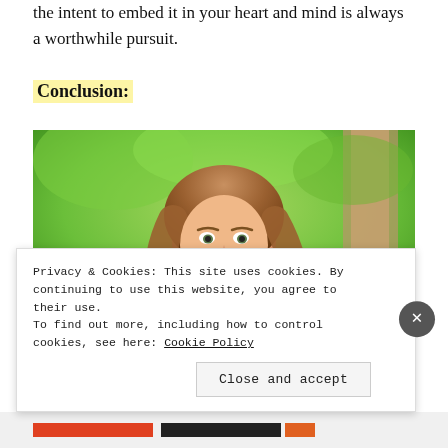the intent to embed it in your heart and mind is always a worthwhile pursuit.
Conclusion:
[Figure (photo): Young smiling woman with long brown hair wearing a red top, outdoors with green trees and foliage in background.]
Privacy & Cookies: This site uses cookies. By continuing to use this website, you agree to their use.
To find out more, including how to control cookies, see here: Cookie Policy